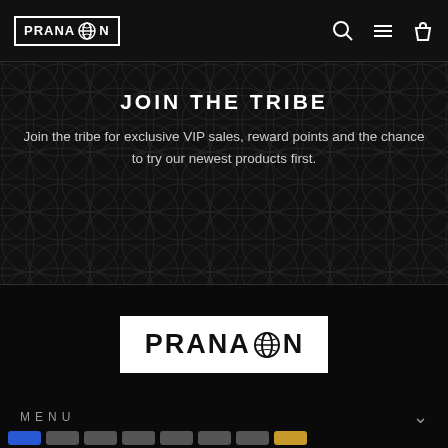PRANA ON — navigation bar with logo, search, menu, cart icons
JOIN THE TRIBE
Join the tribe for exclusive VIP sales, reward points and the chance to try our newest products first.
[Figure (logo): PRANA ON logo in white text on black/white block background]
MENU
INFO
Payment method icons row at bottom